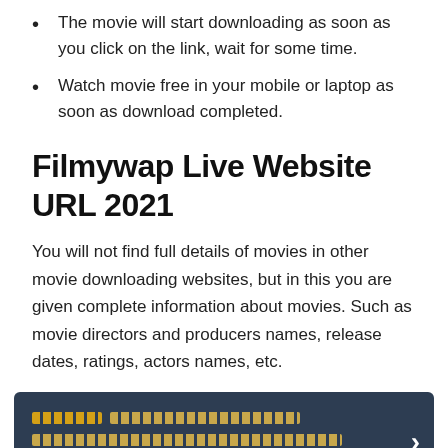The movie will start downloading as soon as you click on the link, wait for some time.
Watch movie free in your mobile or laptop as soon as download completed.
Filmywap Live Website URL 2021
You will not find full details of movies in other movie downloading websites, but in this you are given complete information about movies. Such as movie directors and producers names, release dates, ratings, actors names, etc.
[Figure (infographic): Dark blue banner with Hindi text in golden/amber color and a white right-arrow chevron on the right side.]